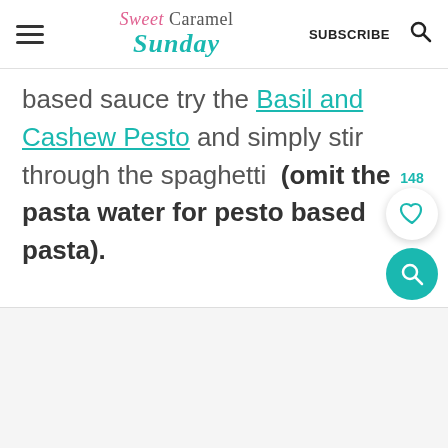Sweet Caramel Sunday | SUBSCRIBE
based sauce try the Basil and Cashew Pesto and simply stir through the spaghetti (omit the pasta water for pesto based pasta).